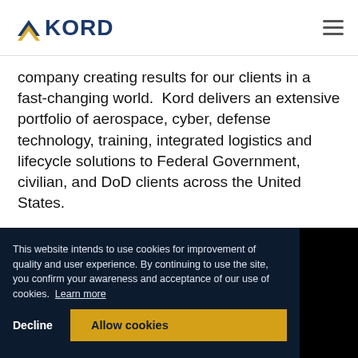[Figure (logo): KORD logo with yellow chevron and dark blue text]
company creating results for our clients in a fast-changing world.  Kord delivers an extensive portfolio of aerospace, cyber, defense technology, training, integrated logistics and lifecycle solutions to Federal Government, civilian, and DoD clients across the United States.
© 2022 Kord Technologies. All rights reserved.
Employee Login
Quality Policy
Privacy Policy
Employment Legal
This website intends to use cookies for improvement of quality and user experience. By continuing to use the site, you confirm your awareness and acceptance of our use of cookies. Learn more
Decline    Allow cookies